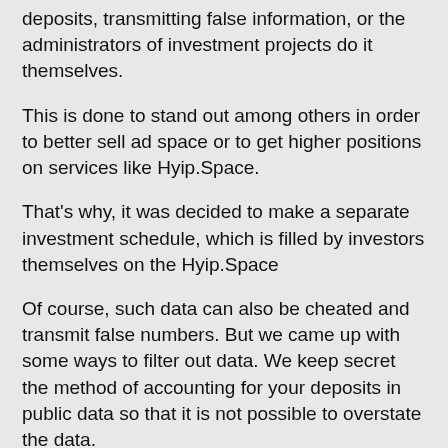deposits, transmitting false information, or the administrators of investment projects do it themselves.
This is done to stand out among others in order to better sell ad space or to get higher positions on services like Hyip.Space.
That's why, it was decided to make a separate investment schedule, which is filled by investors themselves on the Hyip.Space
Of course, such data can also be cheated and transmit false numbers. But we came up with some ways to filter out data. We keep secret the method of accounting for your deposits in public data so that it is not possible to overstate the data.
Therefore, do not be surprised and do not ask why your deposit was not taken into account on the chart diagram. You just haven't passed our test yet. Over